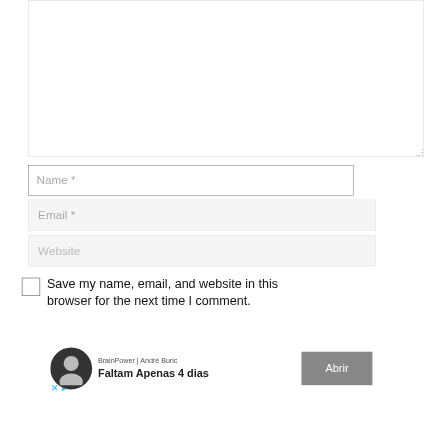[Figure (screenshot): A web comment form textarea (large empty input box) at the top of the page]
Name *
Email *
Website
Save my name, email, and website in this browser for the next time I comment.
[Figure (screenshot): Ad banner: BrainPower | André Buric - Faltam Apenas 4 dias - Abrir button, with profile photo and X/play icons]